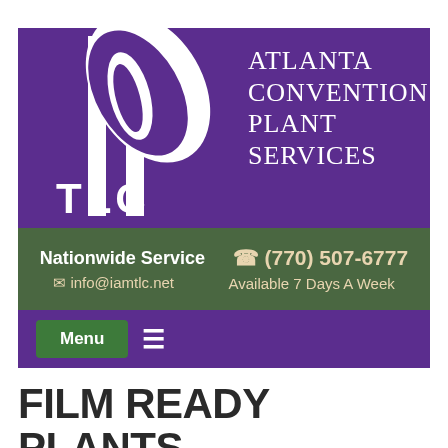[Figure (logo): TLC Atlanta Convention Plant Services logo — purple background with stylized leaf/plant graphic and TLC text in white, with company name 'ATLANTA CONVENTION PLANT SERVICES' in white serif text to the right]
Nationwide Service   ☎ (770) 507-6777
✉ info@iamtlc.net   Available 7 Days A Week
Menu ≡
FILM READY PLANTS FROM ATLANTA, GA,